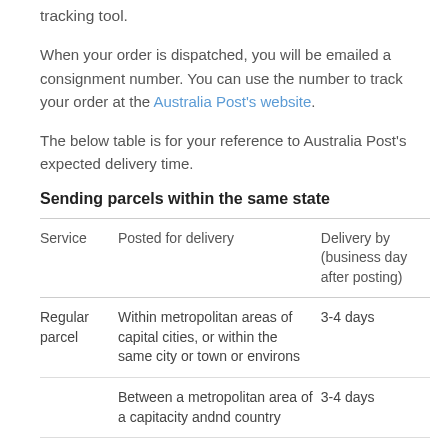tracking tool.
When your order is dispatched, you will be emailed a consignment number. You can use the number to track your order at the Australia Post's website.
The below table is for your reference to Australia Post's expected delivery time.
Sending parcels within the same state
| Service | Posted for delivery | Delivery by (business day after posting) |
| --- | --- | --- |
| Regular parcel | Within metropolitan areas of capital cities, or within the same city or town or environs | 3-4 days |
|  | Between a metropolitan area of a capitacity andnd country | 3-4 days |